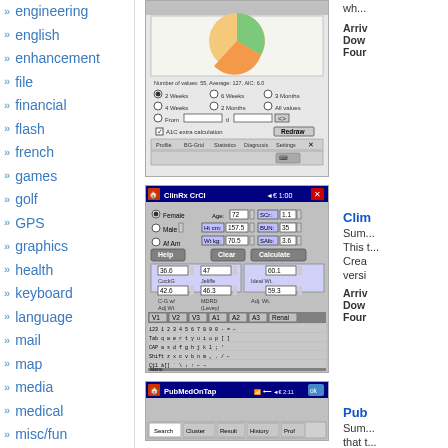» engineering
» english
» enhancement
» file
» financial
» flash
» french
» games
» golf
» GPS
» graphics
» health
» keyboard
» language
» mail
» map
» media
» medical
» misc/fun
[Figure (screenshot): Screenshot of a medical app showing a pie chart with glucose data. Number of values: 55, Average: 127, AIC: 6.0. Radio buttons for 2 Weeks, 6 Weeks, 3 Months, 4 Weeks, 2 Months, All values, From/to fields. Checkbox for A1C extra calculation. Redraw button. Tabs: Profile, BG-Grid, Statistics, Diagnosis, Settings.]
[Figure (screenshot): Screenshot of ClinRx CrCl app. Female selected, Age: 72, SCr: 1.1, Male option, Ht cm: 157.5, BUN: 35, Af Am option, Wt kg: 70.5, SAlb: 3.6. Help, Clear, Calculate buttons. Results: CockG: 36.6, Jeliffe: 47, Ideal Wt: 60.1, C-G w/ Adj Wt: 42.6, MDRD (Levey): 46.3, Adj Wt: 59.3. Tab buttons V1 V2 V3 A1 A2 A3 Renal. On-screen keyboard visible. Menu bar.]
ClinRx CrCl
Summary description. This ... Created version...
Arrival Download Found
[Figure (screenshot): Screenshot of PubMedOnTap app showing Search, Cluster, Result, History, Prof tabs at bottom.]
PubMedOnTap
Summary that...